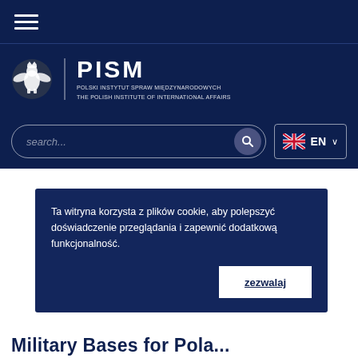[Figure (screenshot): Navigation hamburger menu icon (three horizontal white lines) on dark navy background]
[Figure (logo): PISM logo: Polish eagle emblem on left, vertical divider, PISM text, full name POLSKI INSTYTUT SPRAW MIEDZYNARODOWYCH / THE POLISH INSTITUTE OF INTERNATIONAL AFFAIRS]
[Figure (screenshot): Search bar with placeholder 'search...' and magnifying glass button, plus EN language selector with UK flag]
Home Page ... The Importance of Foreign Military Bases for
Ta witryna korzysta z plików cookie, aby polepszyć doświadczenie przeglądania i zapewnić dodatkową funkcjonalność.
zezwalaj
Military Bases for Pola...